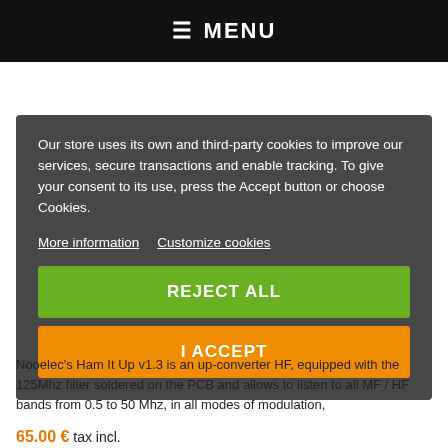≡ MENU
Our store uses its own and third-party cookies to improve our services, secure transactions and enable tracking. To give your consent to its use, press the Accept button or choose Cookies.
More information   Customize cookies
REJECT ALL
I ACCEPT
Nooelec's Ham It Up v1.3 is an up-converter HF, equipped with the 125Mhz filter soldered on the PCB and allows to listen to all MF / HF bands from 0.5 to 50 Mhz, in all modes of modulation,
65.00 € tax incl.